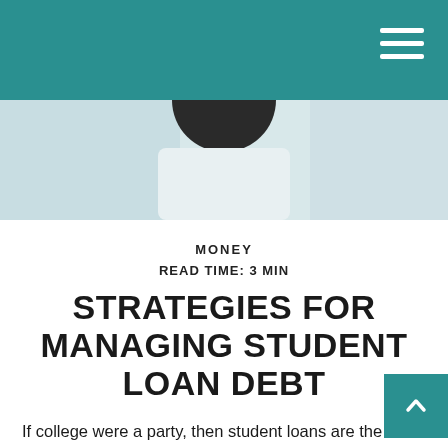[Figure (photo): Hero image showing a partial view of a person, with a teal navigation bar overlaid at the top containing a hamburger menu icon in the upper right corner.]
MONEY
READ TIME: 3 MIN
STRATEGIES FOR MANAGING STUDENT LOAN DEBT
If college were a party, then student loans are the hangover.
Unfortunately, the “hair of the dog” won’t cure this hangover, but there are some strategies for managing it.